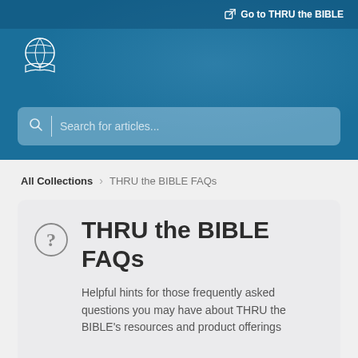Go to THRU the BIBLE
[Figure (logo): THRU the BIBLE logo — globe with open book, white outline on blue background]
[Figure (screenshot): Search bar with magnifier icon and placeholder text 'Search for articles...']
All Collections > THRU the BIBLE FAQs
THRU the BIBLE FAQs
Helpful hints for those frequently asked questions you may have about THRU the BIBLE's resources and product offerings